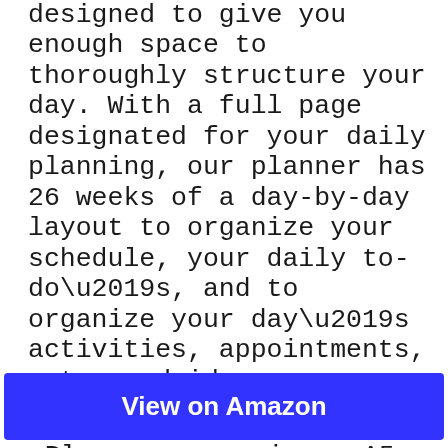DAILY WORKFLOW: This planner was designed to give you enough space to thoroughly structure your day. With a full page designated for your daily planning, our planner has 26 weeks of a day-by-day layout to organize your schedule, your daily to-do’s, and to organize your day’s activities, appointments, notes and ideas.
LAYOUT: Our Daily Planner comes in an A5 size. It includes a 2021-2022 yearly calendar, a separate undated 12 month calendar, and our system of monthly, weekly & daily pages that reflect a clear path to get things done.
View on Amazon